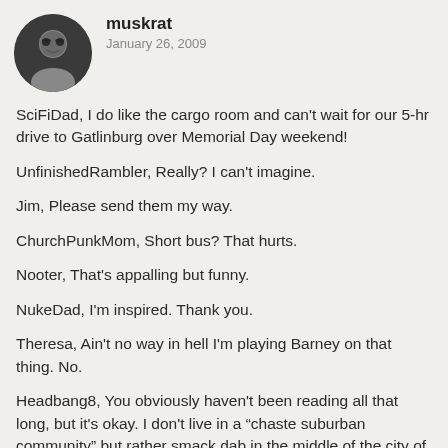[Figure (photo): Circular avatar photo of a person wearing glasses]
muskrat
January 26, 2009
SciFiDad, I do like the cargo room and can't wait for our 5-hr drive to Gatlinburg over Memorial Day weekend!
UnfinishedRambler, Really? I can't imagine.
Jim, Please send them my way.
ChurchPunkMom, Short bus? That hurts.
Nooter, That's appalling but funny.
NukeDad, I'm inspired. Thank you.
Theresa, Ain't no way in hell I'm playing Barney on that thing. No.
Headbang8, You obviously haven't been reading all that long, but it's okay. I don't live in a "chaste suburban community" but rather smack dab in the middle of the city of Atlanta. My little pocket of a neighborhood had 25 burglaries this year. It's not chaste, either. Lots of rape!